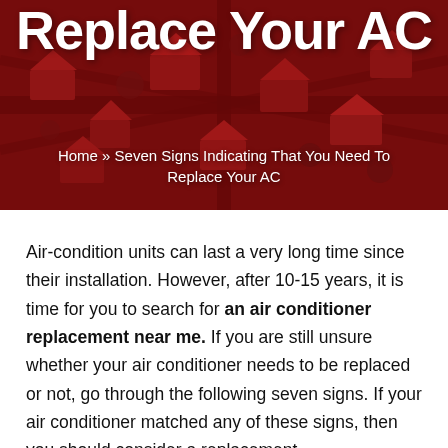[Figure (photo): Aerial view of a suburban neighbourhood with red-tinted overlay, used as hero banner background]
Replace Your AC
Home » Seven Signs Indicating That You Need To Replace Your AC
Air-condition units can last a very long time since their installation. However, after 10-15 years, it is time for you to search for an air conditioner replacement near me. If you are still unsure whether your air conditioner needs to be replaced or not, go through the following seven signs. If your air conditioner matched any of these signs, then you should consider a replacement.
1.  There is no cold air!